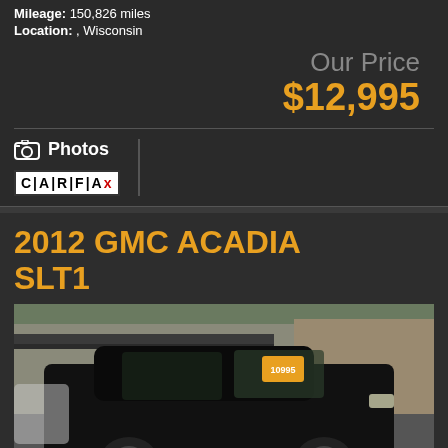Mileage: 150,826 miles
Location: , Wisconsin
Our Price
$12,995
Photos
[Figure (logo): CARFAX logo in black and white with red X]
2012 GMC ACADIA SLT1
[Figure (photo): Black 2012 GMC Acadia SUV parked at a dealership lot in Wisconsin, with an orange price sticker on the windshield. Buildings and trees visible in background.]